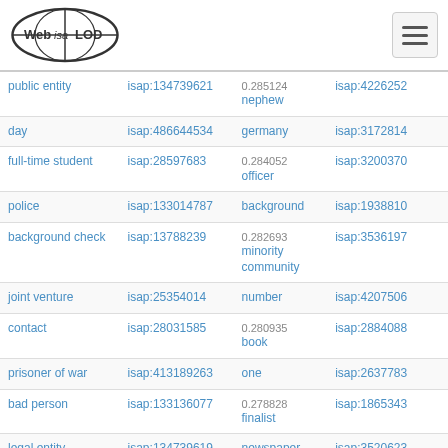Web isa LOD
| concept | isap id | score / concept | isap id |
| --- | --- | --- | --- |
| public entity | isap:134739621 | 0.285124
nephew | isap:4226252 |
| day | isap:486644534 | germany | isap:3172814 |
| full-time student | isap:28597683 | 0.284052
officer | isap:3200370 |
| police | isap:133014787 | background | isap:1938810 |
| background check | isap:13788239 | 0.282693
minority community | isap:3536197 |
| joint venture | isap:25354014 | number | isap:4207506 |
| contact | isap:28031585 | 0.280935
book | isap:2884088 |
| prisoner of war | isap:413189263 | one | isap:2637783 |
| bad person | isap:133136077 | 0.278828
finalist | isap:1865343 |
| legal entity | isap:134739619 | newspaper | isap:3520623 |
| difficult... | isap:... | 0.278... |  |